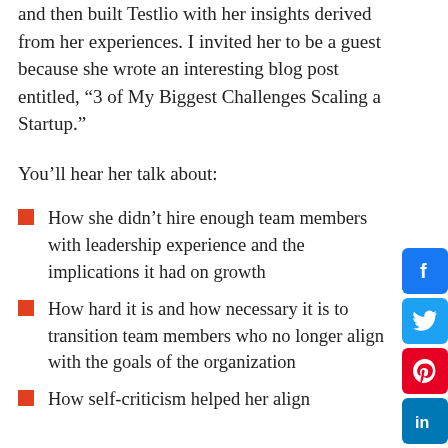and then built Testlio with her insights derived from her experiences. I invited her to be a guest because she wrote an interesting blog post entitled, “3 of My Biggest Challenges Scaling a Startup.”
You’ll hear her talk about:
How she didn’t hire enough team members with leadership experience and the implications it had on growth
How hard it is and how necessary it is to transition team members who no longer align with the goals of the organization
How self-criticism helped her align